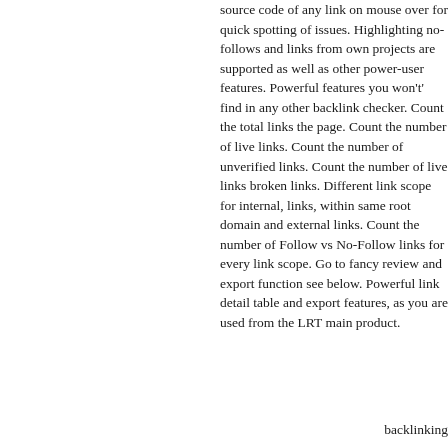source code of any link on mouse over for quick spotting of issues. Highlighting no-follows and links from own projects are supported as well as other power-user features. Powerful features you won't' find in any other backlink checker. Count the total links the page. Count the number of live links. Count the number of unverified links. Count the number of live links broken links. Different link scope for internal, links, within same root domain and external links. Count the number of Follow vs No-Follow links for every link scope. Go to fancy review and export function see below. Powerful link detail table and export features, as you are used from the LRT main product.
backlinking